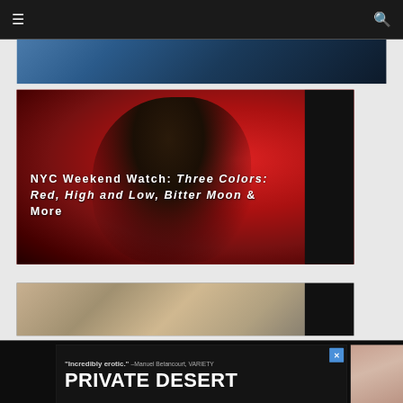≡  🔍
[Figure (photo): Partial view of a person in a blue jacket against dark background, top of page, cropped]
[Figure (photo): Woman in profile view blowing bubble gum against a vivid red background]
NYC Weekend Watch: Three Colors: Red, High and Low, Bitter Moon & More
[Figure (photo): Partial view of another article image at the bottom of the page]
[Figure (photo): Advertisement banner: 'Incredibly erotic.' -Manuel Betancourt, VARIETY — PRIVATE DESERT with a person's photo]